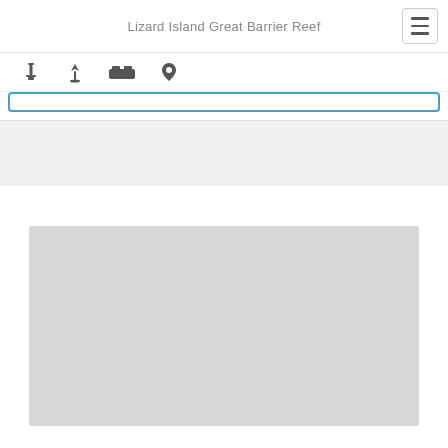Lizard Island Great Barrier Reef
[Figure (screenshot): Navigation icons: info, cocktail/filter, bed, location pin]
[Figure (screenshot): Search bar with blue border outline]
[Figure (screenshot): Gray placeholder area below search bar]
[Figure (screenshot): Large gray map/image placeholder in lower half of page]